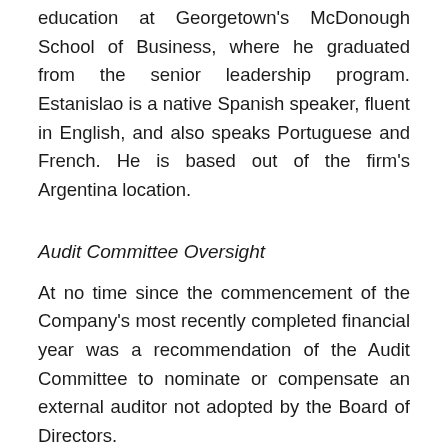education at Georgetown's McDonough School of Business, where he graduated from the senior leadership program. Estanislao is a native Spanish speaker, fluent in English, and also speaks Portuguese and French. He is based out of the firm's Argentina location.
Audit Committee Oversight
At no time since the commencement of the Company's most recently completed financial year was a recommendation of the Audit Committee to nominate or compensate an external auditor not adopted by the Board of Directors.